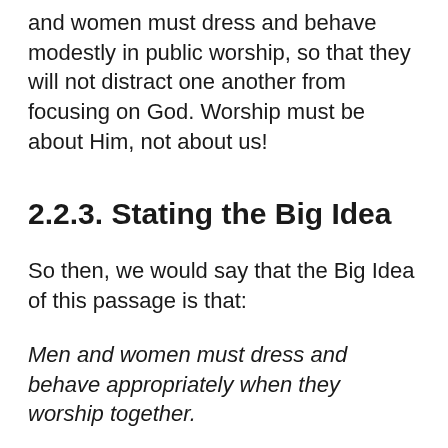and women must dress and behave modestly in public worship, so that they will not distract one another from focusing on God. Worship must be about Him, not about us!
2.2.3. Stating the Big Idea
So then, we would say that the Big Idea of this passage is that:
Men and women must dress and behave appropriately when they worship together.
This is our way of stating in plain language a Timeless Truth that emerges from this passage. This truth applies to all people, at all times, in all cultures...